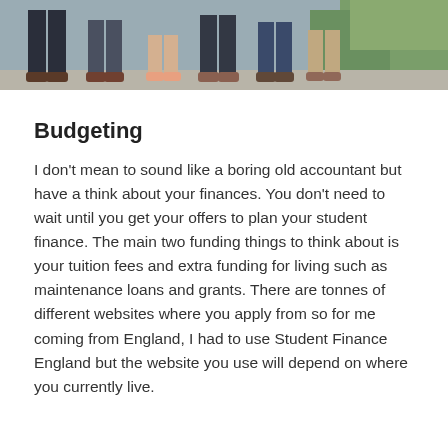[Figure (photo): Cropped photo showing the lower legs and feet of a group of people standing on a pavement, with greenery visible in the background.]
Budgeting
I don't mean to sound like a boring old accountant but have a think about your finances. You don't need to wait until you get your offers to plan your student finance. The main two funding things to think about is your tuition fees and extra funding for living such as maintenance loans and grants. There are tonnes of different websites where you apply from so for me coming from England, I had to use Student Finance England but the website you use will depend on where you currently live.